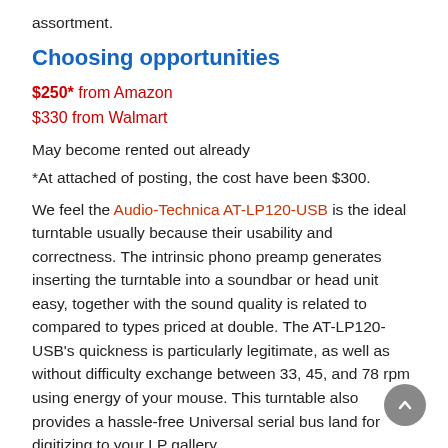assortment.
Choosing opportunities
$250* from Amazon
$330 from Walmart
May become rented out already
*At attached of posting, the cost have been $300.
We feel the Audio-Technica AT-LP120-USB is the ideal turntable usually because their usability and correctness. The intrinsic phono preamp generates inserting the turntable into a soundbar or head unit easy, together with the sound quality is related to compared to types priced at double. The AT-LP120-USB’s quickness is particularly legitimate, as well as without difficulty exchange between 33, 45, and 78 rpm using energy of your mouse. This turntable also provides a hassle-free Universal serial bus land for digitizing to your LP gallery.